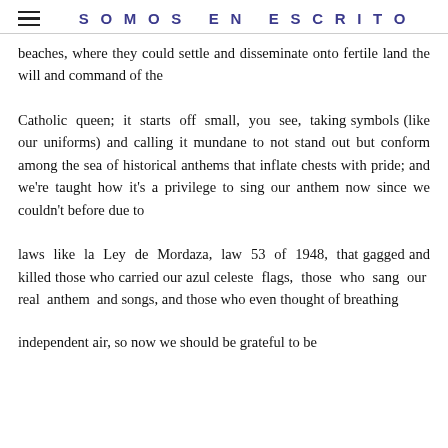SOMOS EN ESCRITO
beaches, where they could settle and disseminate onto fertile land the will and command of the
Catholic queen; it starts off small, you see, taking symbols (like our uniforms) and calling it mundane to not stand out but conform among the sea of historical anthems that inflate chests with pride; and we're taught how it's a privilege to sing our anthem now since we couldn't before due to
laws like la Ley de Mordaza, law 53 of 1948, that gagged and killed those who carried our azul celeste flags, those who sang our real anthem and songs, and those who even thought of breathing
independent air, so now we should be grateful to be